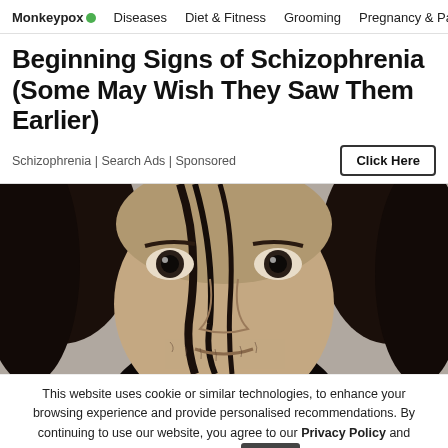Monkeypox • Diseases Diet & Fitness Grooming Pregnancy & Par…
Beginning Signs of Schizophrenia (Some May Wish They Saw Them Earlier)
Schizophrenia | Search Ads | Sponsored
[Figure (photo): Close-up photo of a young man with dark hair hanging over his face, intense eyes, and slight stubble, against a grey background.]
This website uses cookie or similar technologies, to enhance your browsing experience and provide personalised recommendations. By continuing to use our website, you agree to our Privacy Policy and Cookie Policy. OK